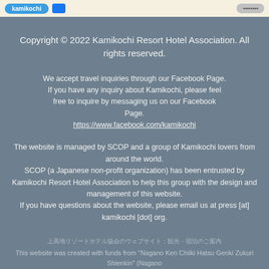[Navigation bar with logo buttons]
Copyright © 2022 Kamikochi Resort Hotel Association. All rights reserved.
We accept travel inquiries through our Facebook Page. If you have any inquiry about Kamikochi, please feel free to inquire by messaging us on our Facebook Page. https://www.facebook.com/kamikochi
The website is managed by SCOP and a group of Kamikochi lovers from around the world. SCOP (a Japanese non-profit organization) has been entrusted by Kamikochi Resort Hotel Association to help this group with the design and management of this website. If you have questions about the website, please email us at press [at] kamikochi [dot] org.
（日本語）上高地リゾートホテル協会のウェブサイト This website was created with funds from "Nagano Ken Chiiki Hatsu Genki Zukuri Shienkin" (Nagano